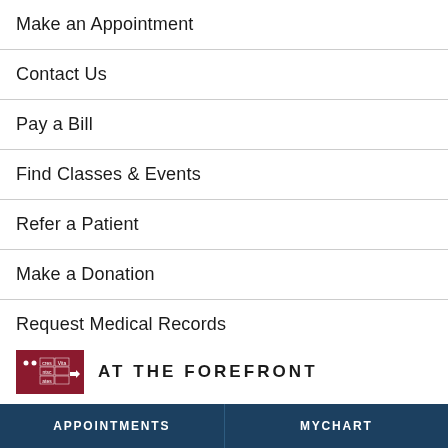Make an Appointment
Contact Us
Pay a Bill
Find Classes & Events
Refer a Patient
Make a Donation
Request Medical Records
Find a Clinical Trial
Apply for a Job
[Figure (logo): University of Chicago Medicine logo - red box with cres/vice/otes text and arrow]
AT THE FOREFRONT
APPOINTMENTS   MYCHART